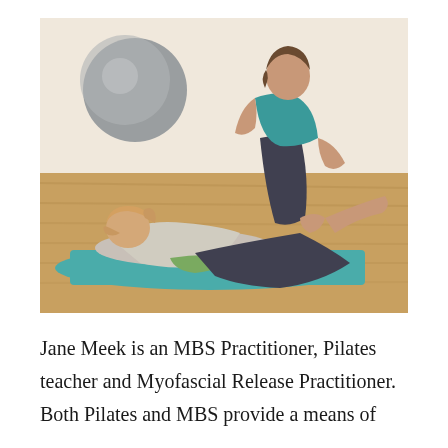[Figure (photo): Two women doing Pilates in a studio. One woman is lying on a teal mat doing crunches while the other woman in a teal top assists her by holding her legs. A large grey exercise ball is visible in the background on a wooden floor.]
Jane Meek is an MBS Practitioner, Pilates teacher and Myofascial Release Practitioner. Both Pilates and MBS provide a means of